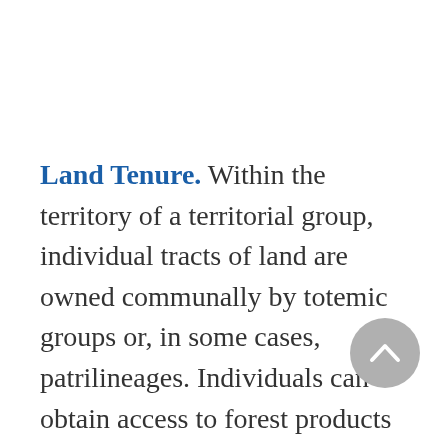Land Tenure. Within the territory of a territorial group, individual tracts of land are owned communally by totemic groups or, in some cases, patrilineages. Individuals can obtain access to forest products (e.g., trees for canoes) or the right to hunt in a particular area through matrilateral or affinal ties as well as through